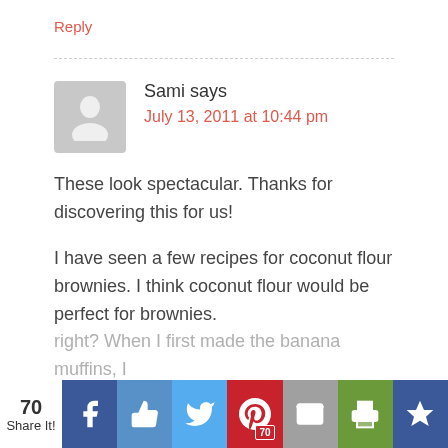Reply
Sami says
July 13, 2011 at 10:44 pm
These look spectacular. Thanks for discovering this for us!
I have seen a few recipes for coconut flour brownies. I think coconut flour would be perfect for brownies. right? When I first made the banana muffins, I (faded/cut off)
[Figure (screenshot): Social share bar with 70 shares, Facebook, Like, Twitter, Pinterest (70), Email, Print, and bookmark buttons]